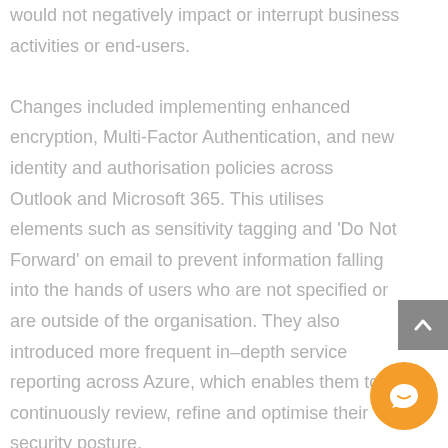would not negatively impact or interrupt business activities or end-users.

Changes included implementing enhanced encryption, Multi-Factor Authentication, and new identity and authorisation policies across Outlook and Microsoft 365. This utilises elements such as sensitivity tagging and 'Do Not Forward' on email to prevent information falling into the hands of users who are not specified or are outside of the organisation. They also introduced more frequent in-depth service reporting across Azure, which enables them to continuously review, refine and optimise their security posture.